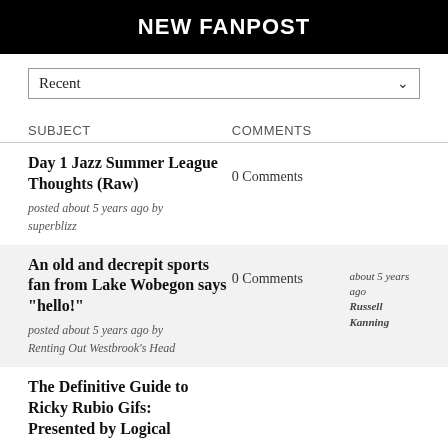NEW FANPOST
Recent
SUBJECT	COMMENTS
Day 1 Jazz Summer League Thoughts (Raw)
posted about 5 years ago by superblizz
0 Comments
An old and decrepit sports fan from Lake Wobegon says "hello!"
posted about 5 years ago by Renting Out Westbrook's Head
0 Comments
about 5 years ago Russell Kanning
The Definitive Guide to Ricky Rubio Gifs: Presented by Logical